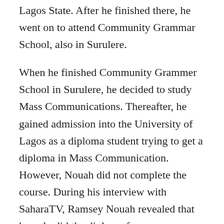Lagos State. After he finished there, he went on to attend Community Grammar School, also in Surulere.
When he finished Community Grammer School in Surulere, he decided to study Mass Communications. Thereafter, he gained admission into the University of Lagos as a diploma student trying to get a diploma in Mass Communication. However, Nouah did not complete the course. During his interview with SaharaTV, Ramsey Nouah revealed that he only did the diploma for one year before he left to focus on other things. He also revealed that he does not have any degree from any institution as he did not pursue his education after